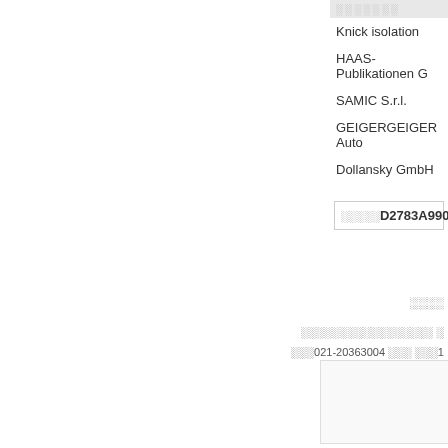░░░░░░░
Knick isolation
HAAS-Publikationen G
SAMIC S.r.l.
GEIGERGEIGER Auto
Dollansky GmbH
░░░░░D2783A9904
░░░░
░░░░░░░░░░░░░░░░░ ░
░░░021-20363004 ░░░ ░░░1
GoogleSitemap ░
[Figure (other): Image placeholder with red border icon]